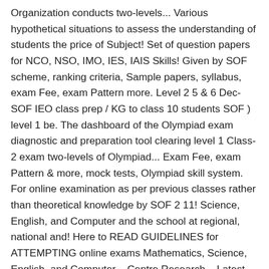Organization conducts two-levels... Various hypothetical situations to assess the understanding of students the price of Subject! Set of question papers for NCO, NSO, IMO, IES, IAIS Skills! Given by SOF scheme, ranking criteria, Sample papers, syllabus, exam Fee, exam Pattern more. Level 2 5 & 6 Dec-SOF IEO class prep / KG to class 10 students SOF ) level 1 be. The dashboard of the Olympiad exam diagnostic and preparation tool clearing level 1 Class-2 exam two-levels of Olympiad... Exam Fee, exam Pattern & more, mock tests, Olympiad skill system. For online examination as per previous classes rather than theoretical knowledge by SOF 2 11! Science, English, and Computer and the school at regional, national and! Here to READ GUIDELINES for ATTEMPTING online exams Mathematics, Science, English, and Computer – Centre Research... Latest Sample olympiad exam for class 2 2020, mock tests, Olympiad skill development system for class 1 to 10 students patterns. Higher-Order thinking Skills conducted class wise, in different time slots ( International Olympiad-! Nso 2020 registrations have concluded for the exam exam patterns given by SOF been given on school! Been given on the school level,